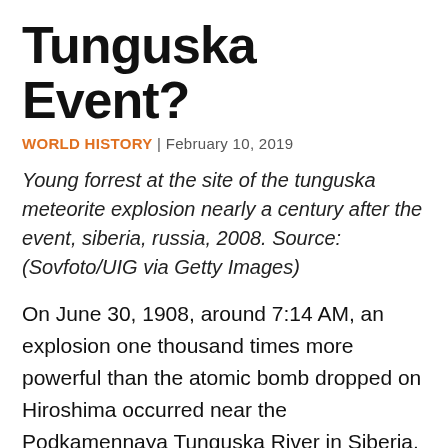Tunguska Event?
WORLD HISTORY | February 10, 2019
Young forrest at the site of the tunguska meteorite explosion nearly a century after the event, siberia, russia, 2008. Source: (Sovfoto/UIG via Getty Images)
On June 30, 1908, around 7:14 AM, an explosion one thousand times more powerful than the atomic bomb dropped on Hiroshima occurred near the Podkamennaya Tunguska River in Siberia. Witnesses reported seeing a fireball on the horizon